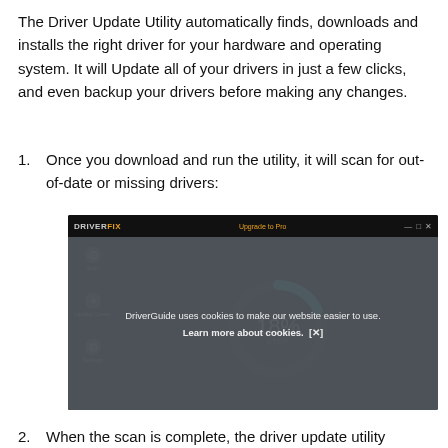The Driver Update Utility automatically finds, downloads and installs the right driver for your hardware and operating system. It will Update all of your drivers in just a few clicks, and even backup your drivers before making any changes.
1. Once you download and run the utility, it will scan for out-of-date or missing drivers:
[Figure (screenshot): DriverFix application screenshot showing a scanning progress donut gauge at 18% with a dark UI, sidebar with Scan, Update Center, and Settings icons, and a cookie consent banner overlay at the bottom reading 'DriverGuide uses cookies to make our website easier to use. Learn more about cookies. [x]']
2. When the scan is complete, the driver update utility